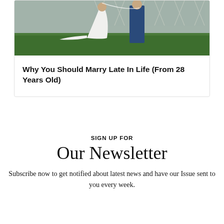[Figure (photo): Wedding photo showing a bride in a white lace gown and groom in a blue suit outdoors on grass with a decorative fence in the background]
Why You Should Marry Late In Life (From 28 Years Old)
SIGN UP FOR
Our Newsletter
Subscribe now to get notified about latest news and have our Issue sent to you every week.